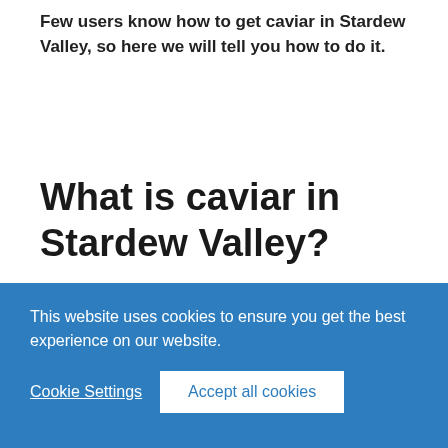Few users know how to get caviar in Stardew Valley, so here we will tell you how to do it.
What is caviar in Stardew Valley?
It is an item that you can obtain in the game and that will allow you to...
This website uses cookies to ensure you get the best experience on our website.
Cookie Settings
Accept all cookies